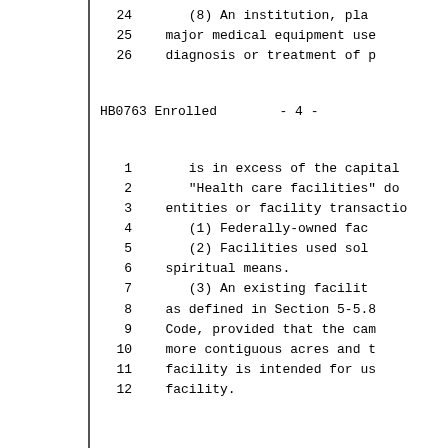24        (8) An institution, pla
25   major medical equipment use
26   diagnosis or treatment of p
HB0763 Enrolled        - 4 -
1        is in excess of the capital
2        "Health care facilities" do
3   entities or facility transactio
4        (1) Federally-owned fac
5        (2) Facilities used sol
6   spiritual means.
7        (3) An existing facilit
8   as defined in Section 5-5.8
9   Code, provided that the cam
10  more contiguous acres and t
11  facility is intended for us
12  facility.